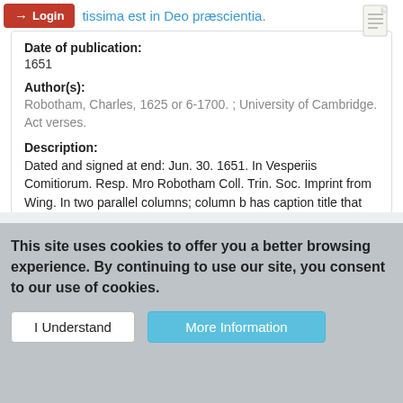Login | ...tissima est in Deo præscientia.
Date of publication:
1651
Author(s):
Robotham, Charles, 1625 or 6-1700. ; University of Cambridge. Act verses.
Description:
Dated and signed at end: Jun. 30. 1651. In Vesperiis Comitiorum. Resp. Mro Robotham Coll. Trin. Soc. Imprint from Wing. In two parallel columns; column b has caption title that reads: Præmotio physica non præjudicat libertati ...
This item contains 4 files (52.83 KB).
Publicly Available
This site uses cookies to offer you a better browsing experience. By continuing to use our site, you consent to our use of cookies.
I Understand
More Information